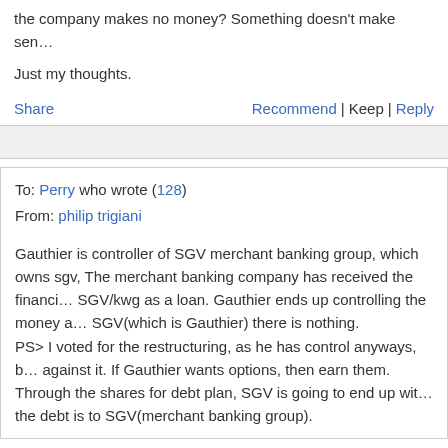the company makes no money? Something doesn't make sense.
Just my thoughts.
Share   Recommend | Keep | Reply
To: Perry who wrote (128)
From: philip trigiani
Gauthier is controller of SGV merchant banking group, which owns sgv, The merchant banking company has received the financing of SGV/kwg as a loan. Gauthier ends up controlling the money and SGV(which is Gauthier) there is nothing.
PS> I voted for the restructuring, as he has control anyways, but I am against it. If Gauthier wants options, then earn them.
Through the shares for debt plan, SGV is going to end up with... the debt is to SGV(merchant banking group).